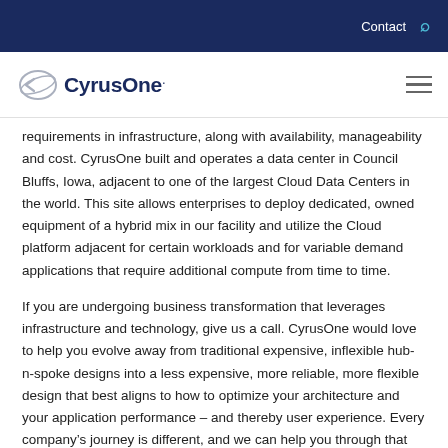Contact
[Figure (logo): CyrusOne logo with globe/arrow icon and company name in dark navy blue text]
requirements in infrastructure, along with availability, manageability and cost. CyrusOne built and operates a data center in Council Bluffs, Iowa, adjacent to one of the largest Cloud Data Centers in the world. This site allows enterprises to deploy dedicated, owned equipment of a hybrid mix in our facility and utilize the Cloud platform adjacent for certain workloads and for variable demand applications that require additional compute from time to time.
If you are undergoing business transformation that leverages infrastructure and technology, give us a call. CyrusOne would love to help you evolve away from traditional expensive, inflexible hub-n-spoke designs into a less expensive, more reliable, more flexible design that best aligns to how to optimize your architecture and your application performance – and thereby user experience. Every company's journey is different, and we can help you through that